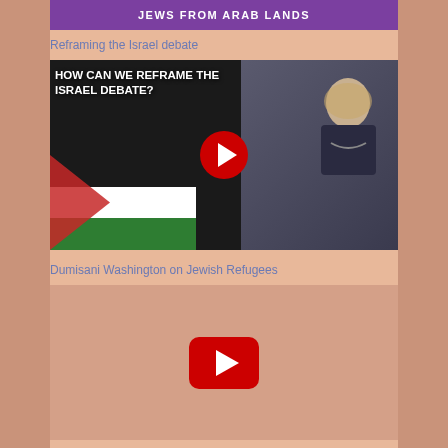JEWS FROM ARAB LANDS
Reframing the Israel debate
[Figure (screenshot): YouTube video thumbnail showing text 'HOW CAN WE REFRAME THE ISRAEL DEBATE?' with a woman on the right side against Israeli and Palestinian flags background, with a red YouTube play button overlay]
Dumisani Washington on Jewish Refugees
[Figure (screenshot): YouTube video placeholder showing a red YouTube play button on a light salmon/peach background]